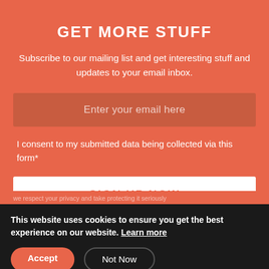GET MORE STUFF
Subscribe to our mailing list and get interesting stuff and updates to your email inbox.
Enter your email here
I consent to my submitted data being collected via this form*
SIGN UP NOW
we respect your privacy and take protecting it seriously
This website uses cookies to ensure you get the best experience on our website. Learn more
Accept
Not Now